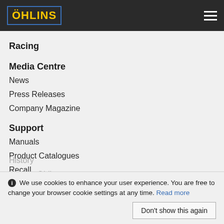ÖHLINS
Racing
Media Centre
News
Press Releases
Company Magazine
Support
Manuals
Product Catalogues
Recall
Safety Data Sheets
About
History
We Are Ohlins
We use cookies to enhance your user experience. You are free to change your browser cookie settings at any time. Read more
Don't show this again